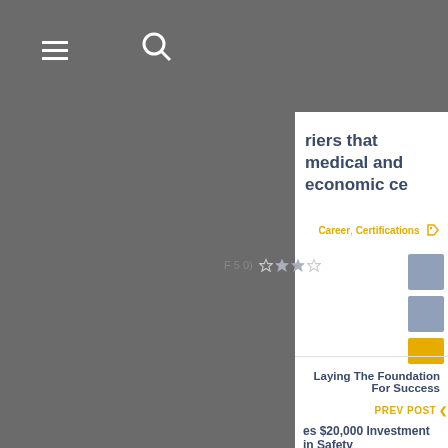Navigation header with hamburger menu and search icon
riers that medical and economic ce
Career, Certifications
F 5 0) [star rating]
[Figure (other): 2x3 grid of colored squares: top row two blue-gray squares, middle row two blue-gray squares, bottom row two yellow squares]
Laying The Foundation For Success
PREV POST <
es $20,000 Investment in Safety